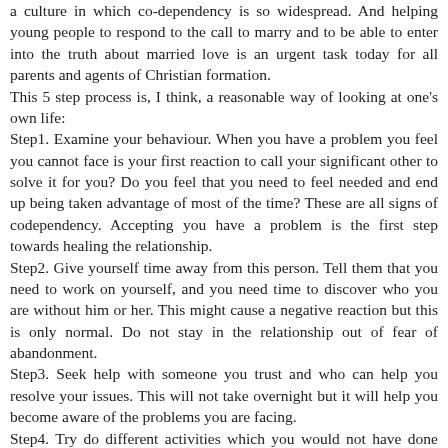a culture in which co-dependency is so widespread. And helping young people to respond to the call to marry and to be able to enter into the truth about married love is an urgent task today for all parents and agents of Christian formation.
This 5 step process is, I think, a reasonable way of looking at one's own life:
Step1. Examine your behaviour. When you have a problem you feel you cannot face is your first reaction to call your significant other to solve it for you? Do you feel that you need to feel needed and end up being taken advantage of most of the time? These are all signs of codependency. Accepting you have a problem is the first step towards healing the relationship.
Step2. Give yourself time away from this person. Tell them that you need to work on yourself, and you need time to discover who you are without him or her. This might cause a negative reaction but this is only normal. Do not stay in the relationship out of fear of abandonment.
Step3. Seek help with someone you trust and who can help you resolve your issues. This will not take overnight but it will help you become aware of the problems you are facing.
Step4. Try do different activities which you would not have done otherwise when you were in the relationship. Discover who you are